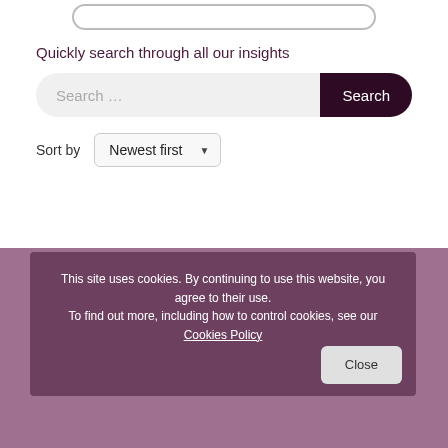[Figure (other): Partial pill/outline button visible at top of page]
Quickly search through all our insights
Search ...
Search
Sort by  Newest first
Sign up to our:
Newsletter
Webinar series
Get in touch
This site uses cookies. By continuing to use this website, you agree to their use.
To find out more, including how to control cookies, see our Cookies Policy
Close